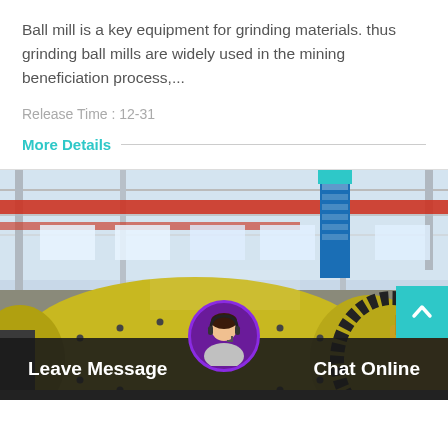Ball mill is a key equipment for grinding materials. thus grinding ball mills are widely used in the mining beneficiation process,...
Release Time : 12-31
More Details
[Figure (photo): Industrial factory floor showing large yellow cylindrical ball mill equipment with gear rings, overhead cranes with red beams, bright warehouse lighting, and a blue signboard in the background.]
Leave Message   Chat Online